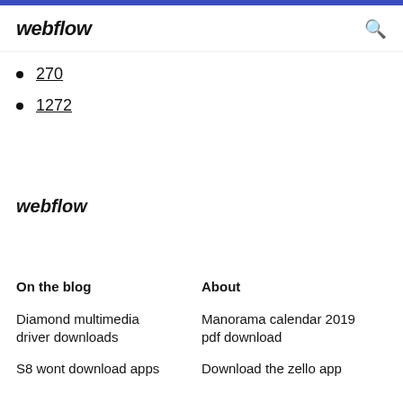webflow
270
1272
webflow
On the blog
About
Diamond multimedia driver downloads
Manorama calendar 2019 pdf download
S8 wont download apps
Download the zello app